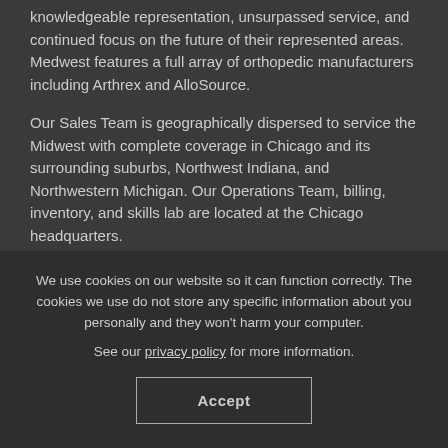knowledgeable representation, unsurpassed service, and continued focus on the future of their represented areas. Medwest features a full array of orthopedic manufacturers including Arthrex and AlloSource.
Our Sales Team is geographically dispersed to service the Midwest with complete coverage in Chicago and its surrounding suburbs, Northwest Indiana, and Northwestern Michigan. Our Operations Team, billing, inventory, and skills lab are located at the Chicago headquarters.
· · · · · · · · · · · · · ·
We use cookies on our website so it can function correctly. The cookies we use do not store any specific information about you personally and they won't harm your computer.
See our privacy policy for more information.
Accept